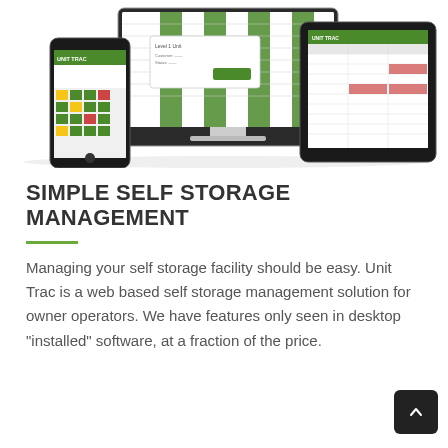[Figure (screenshot): Three device mockups (smartphone, desktop monitor, tablet) showing Unit Trac self storage management software interface with green grid unit map and UI panels]
SIMPLE SELF STORAGE MANAGEMENT
Managing your self storage facility should be easy. Unit Trac is a web based self storage management solution for owner operators. We have features only seen in desktop "installed" software, at a fraction of the price.